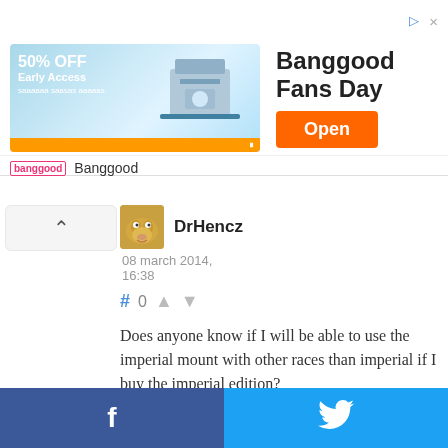[Figure (screenshot): Banggood Fans Day advertisement banner with 50% OFF Early Access text, product image, and orange Open button]
DrHencz
08 march 2014, 16:38
# 0 ↑ ↓
Does anyone know if I will be able to use the imperial mount with other races than imperial if I buy the imperial edition?
[Figure (infographic): Social share bar with Facebook and Twitter buttons]